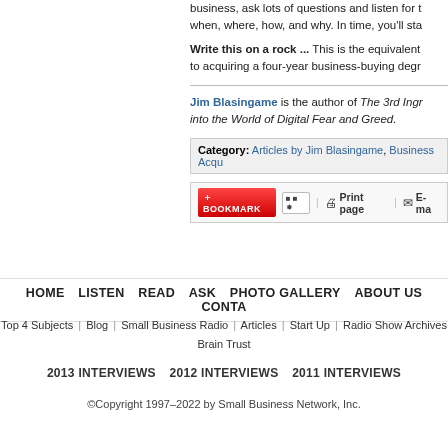business, ask lots of questions and listen for t... when, where, how, and why. In time, you'll sta...
Write this on a rock ... This is the equivalent to acquiring a four-year business-buying degr...
Jim Blasingame is the author of The 3rd Ingr... into the World of Digital Fear and Greed.
Category: Articles by Jim Blasingame, Business Acqu...
[Figure (screenshot): Toolbar with Bookmark button, Print page link, and E-mail link]
HOME | LISTEN | READ | ASK | PHOTO GALLERY | ABOUT US | CONTACT
Top 4 Subjects | Blog | Small Business Radio | Articles | Start Up | Radio Show Archives | Brain Trust
2013 INTERVIEWS  2012 INTERVIEWS  2011 INTERVIEWS
©Copyright 1997–2022 by Small Business Network, Inc.